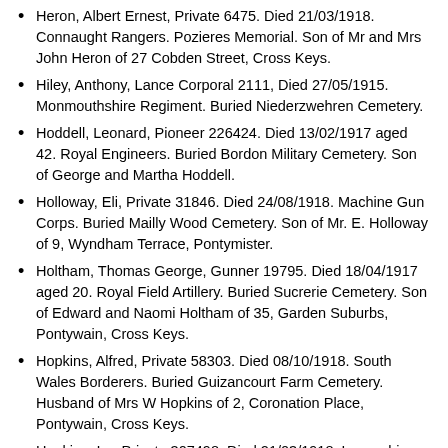Heron, Albert Ernest, Private 6475. Died 21/03/1918. Connaught Rangers. Pozieres Memorial. Son of Mr and Mrs John Heron of 27 Cobden Street, Cross Keys.
Hiley, Anthony, Lance Corporal 2111, Died 27/05/1915. Monmouthshire Regiment. Buried Niederzwehren Cemetery.
Hoddell, Leonard, Pioneer 226424. Died 13/02/1917 aged 42. Royal Engineers. Buried Bordon Military Cemetery. Son of George and Martha Hoddell.
Holloway, Eli, Private 31846. Died 24/08/1918. Machine Gun Corps. Buried Mailly Wood Cemetery. Son of Mr. E. Holloway of 9, Wyndham Terrace, Pontymister.
Holtham, Thomas George, Gunner 19795. Died 18/04/1917 aged 20. Royal Field Artillery. Buried Sucrerie Cemetery. Son of Edward and Naomi Holtham of 35, Garden Suburbs, Pontywain, Cross Keys.
Hopkins, Alfred, Private 58303. Died 08/10/1918. South Wales Borderers. Buried Guizancourt Farm Cemetery. Husband of Mrs W Hopkins of 2, Coronation Place, Pontywain, Cross Keys.
Hopkins, Ira, Private 307498. Died 21/03/1918. Lancashire Fusiliers. Pozieres Memorial.
Howells, Frederick, Private 13042. Died 31/10/1914. South Wales Borderers. Ypres (Menin Gate) Memorial.
Ivin, Ivor John, Private DM2/195223. Died 20/10/1917. Army Service Corps. Tyne Cot Memorial.